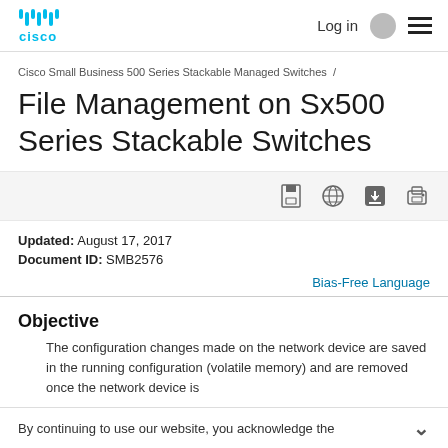Cisco | Log in | Menu
Cisco Small Business 500 Series Stackable Managed Switches /
File Management on Sx500 Series Stackable Switches
[Figure (other): Toolbar icons: save, globe, download, print]
Updated: August 17, 2017
Document ID: SMB2576
Bias-Free Language
Objective
The configuration changes made on the network device are saved in the running configuration (volatile memory) and are removed once the network device is
By continuing to use our website, you acknowledge the